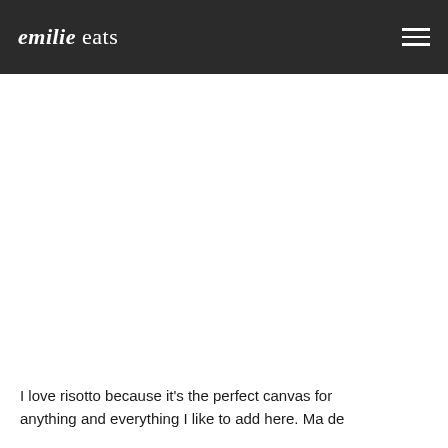emilie eats
[Figure (other): Large white/blank content area below the header navigation bar]
I love risotto because it's the perfect canvas for anything and everything I like to add here. Ma de...